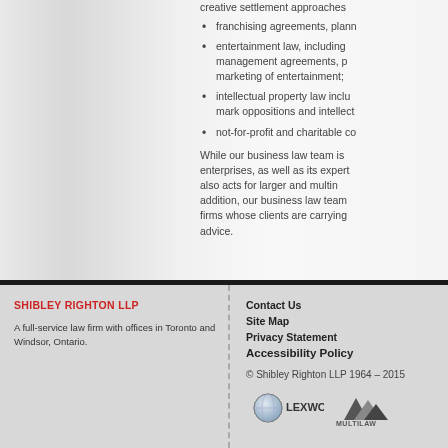creative settlement approaches
franchising agreements, plann
entertainment law, including management agreements, p marketing of entertainment;
intellectual property law inclu mark oppositions and intellect
not-for-profit and charitable co
While our business law team is enterprises, as well as its expert also acts for larger and multin addition, our business law team firms whose clients are carrying advice.
SHIBLEY RIGHTON LLP
A full-service law firm with offices in Toronto and Windsor, Ontario.
Contact Us
Site Map
Privacy Statement
Accessibility Policy
© Shibley Righton LLP 1964 – 2015
[Figure (logo): LEXWORK logo - globe with company name]
[Figure (logo): MULTILAW logo - mountain peaks with company name]